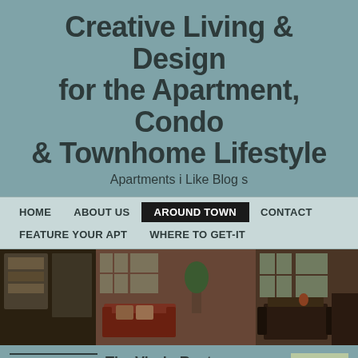Creative Living & Design for the Apartment, Condo & Townhome Lifestyle
Apartments i Like Blog s
HOME   ABOUT US   AROUND TOWN   CONTACT   FEATURE YOUR APT   WHERE TO GET-IT
[Figure (photo): Interior photo of a living and dining area in an apartment with leather sofas, brick walls, and large windows]
BLOG FEATURES
Apartment
The Virgin Renter – Apartments for Rent in Doylestown Pa.